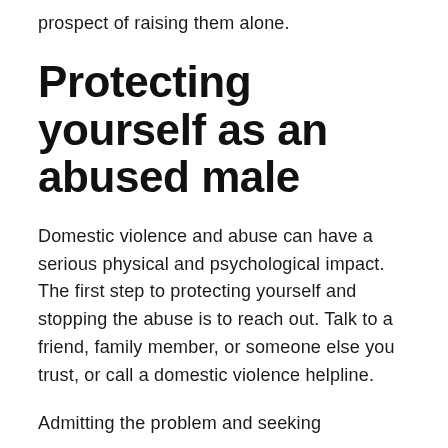prospect of raising them alone.
Protecting yourself as an abused male
Domestic violence and abuse can have a serious physical and psychological impact. The first step to protecting yourself and stopping the abuse is to reach out. Talk to a friend, family member, or someone else you trust, or call a domestic violence helpline.
Admitting the problem and seeking...